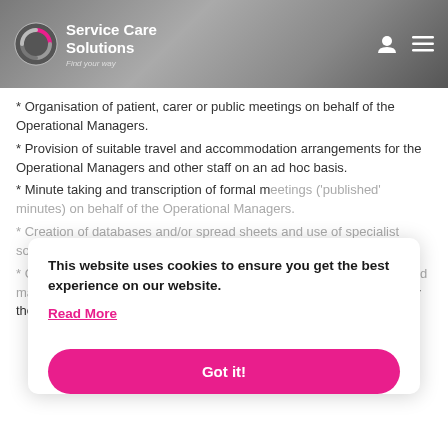Service Care Solutions – Find your way
* Organisation of patient, carer or public meetings on behalf of the Operational Managers.
* Provision of suitable travel and accommodation arrangements for the Operational Managers and other staff on an ad hoc basis.
* Minute taking and transcription of formal meetings ('published' minutes) on behalf of the Operational Managers.
* Creation of databases and/or spread sheets and use of specialist software and systems, such as Micad and RAMS
* Collection of data and documentation relating to waste production and management and recording of any issues around non-conformance by the Waste Contractors and the Trust, bringing
This website uses cookies to ensure you get the best experience on our website. Read More
Got it!